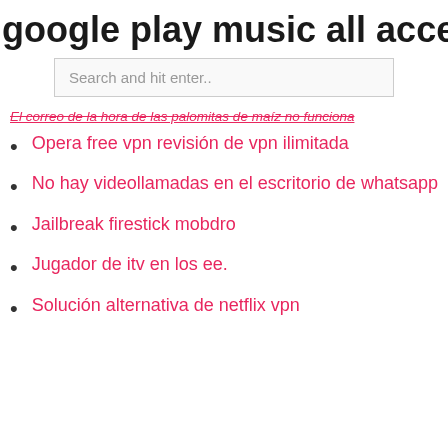google play music all access hack ap
Search and hit enter..
El correo de la hora de las palomitas de maíz no funciona
Opera free vpn revisión de vpn ilimitada
No hay videollamadas en el escritorio de whatsapp
Jailbreak firestick mobdro
Jugador de itv en los ee.
Solución alternativa de netflix vpn